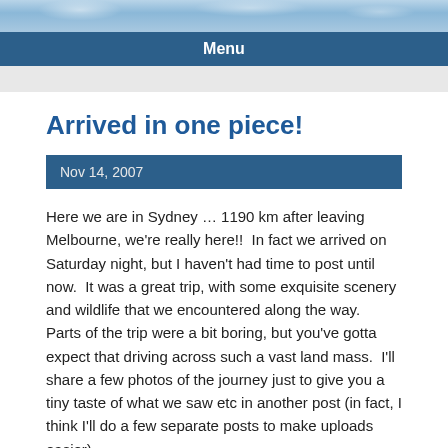[Figure (photo): Blue sky with clouds background image header]
Menu
Arrived in one piece!
Nov 14, 2007
Here we are in Sydney … 1190 km after leaving Melbourne, we're really here!!  In fact we arrived on Saturday night, but I haven't had time to post until now.  It was a great trip, with some exquisite scenery and wildlife that we encountered along the way.  Parts of the trip were a bit boring, but you've gotta expect that driving across such a vast land mass.  I'll share a few photos of the journey just to give you a tiny taste of what we saw etc in another post (in fact, I think I'll do a few separate posts to make uploads easier).